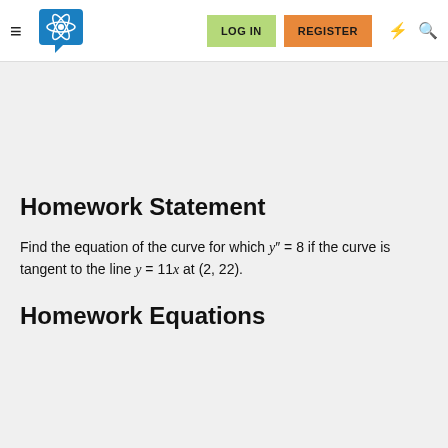LOG IN | REGISTER
Homework Statement
Find the equation of the curve for which y'' = 8 if the curve is tangent to the line y = 11x at (2, 22).
Homework Equations